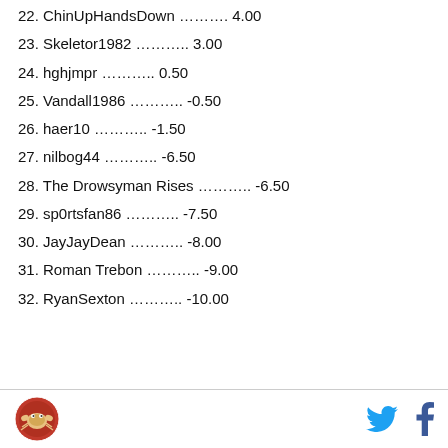22. ChinUpHandsDown ………. 4.00
23. Skeletor1982 ……….. 3.00
24. hghjmpr ……….. 0.50
25. Vandall1986 ……….. -0.50
26. haer10 ……….. -1.50
27. nilbog44 ……….. -6.50
28. The Drowsyman Rises ……….. -6.50
29. sp0rtsfan86 ……….. -7.50
30. JayJayDean ……….. -8.00
31. Roman Trebon ……….. -9.00
32. RyanSexton ……….. -10.00
Logo, Twitter, Facebook icons